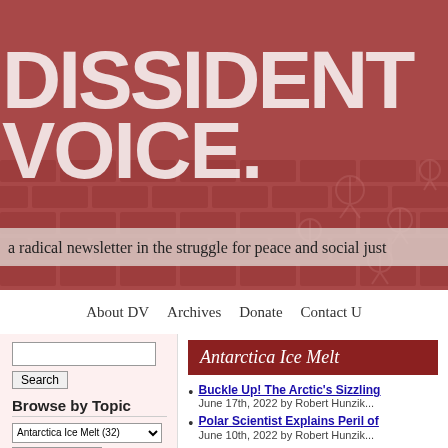[Figure (illustration): Dissident Voice masthead banner with large white distressed 'DISSIDENT VOICE' text over a dark red brick-pattern background]
a radical newsletter in the struggle for peace and social just...
About DV   Archives   Donate   Contact U...
Search
Browse by Topic
Antarctica Ice Melt  (32)
Filter articles
Poetry on Sunday
Antarctica Ice Melt
Buckle Up! The Arctic's Sizzling... June 17th, 2022 by Robert Hunzik...
Polar Scientist Explains Peril of... June 10th, 2022 by Robert Hunzik...
The Truth About IPCC Report...